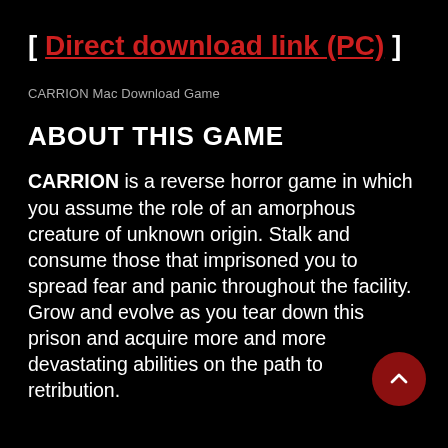[ Direct download link (PC) ]
CARRION Mac Download Game
ABOUT THIS GAME
CARRION is a reverse horror game in which you assume the role of an amorphous creature of unknown origin. Stalk and consume those that imprisoned you to spread fear and panic throughout the facility. Grow and evolve as you tear down this prison and acquire more and more devastating abilities on the path to retribution.